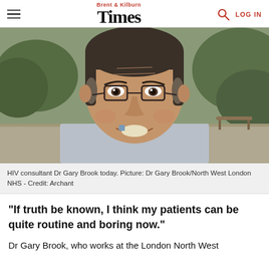Brent & Kilburn Times | LOG IN
[Figure (photo): Headshot photo of a middle-aged man with glasses and dark hair, smiling, wearing a light blue shirt, outdoors with green foliage in the background. HIV consultant Dr Gary Brook.]
HIV consultant Dr Gary Brook today. Picture: Dr Gary Brook/North West London NHS - Credit: Archant
“If truth be known, I think my patients can be quite routine and boring now.”
Dr Gary Brook, who works at the London North West